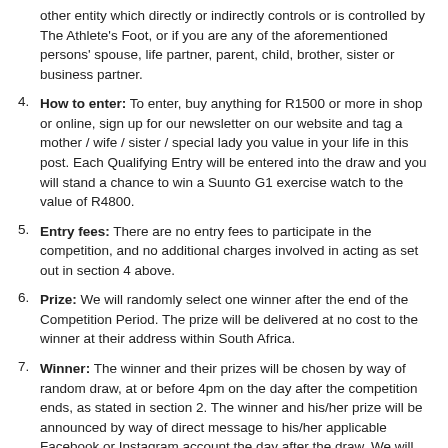other entity which directly or indirectly controls or is controlled by The Athlete's Foot, or if you are any of the aforementioned persons' spouse, life partner, parent, child, brother, sister or business partner.
4. How to enter: To enter, buy anything for R1500 or more in shop or online, sign up for our newsletter on our website and tag a mother / wife / sister / special lady you value in your life in this post. Each Qualifying Entry will be entered into the draw and you will stand a chance to win a Suunto G1 exercise watch to the value of R4800.
5. Entry fees: There are no entry fees to participate in the competition, and no additional charges involved in acting as set out in section 4 above.
6. Prize: We will randomly select one winner after the end of the Competition Period. The prize will be delivered at no cost to the winner at their address within South Africa.
7. Winner: The winner and their prizes will be chosen by way of random draw, at or before 4pm on the day after the competition ends, as stated in section 2. The winner and his/her prize will be announced by way of direct message to his/her applicable Facebook or Instagram account the day after the draw. We will then send a direct message to request the